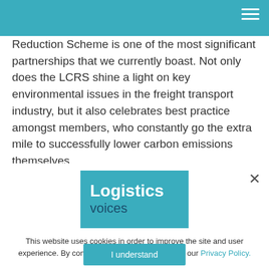Reduction Scheme is one of the most significant partnerships that we currently boast. Not only does the LCRS shine a light on key environmental issues in the freight transport industry, but it also celebrates best practice amongst members, who constantly go the extra mile to successfully lower carbon emissions themselves.
[Figure (logo): Logistics Voices logo — teal rectangle with 'Logistics' in large white bold text and 'voices' in dark blue below]
This website uses cookies in order to improve the site and user experience. By continuing to use it, you agree to our Privacy Policy.
I understand